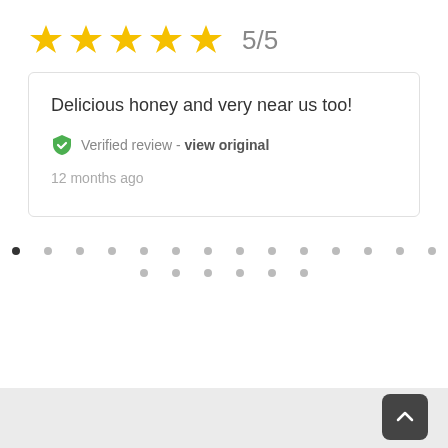[Figure (other): Five gold stars rating display with score 5/5]
Delicious honey and very near us too!
Verified review - view original
12 months ago
[Figure (other): Pagination dots row 1: 14 dots, first is active/dark]
[Figure (other): Pagination dots row 2: 6 dots, all inactive]
[Figure (other): Back to top button with upward chevron arrow, dark rounded square]